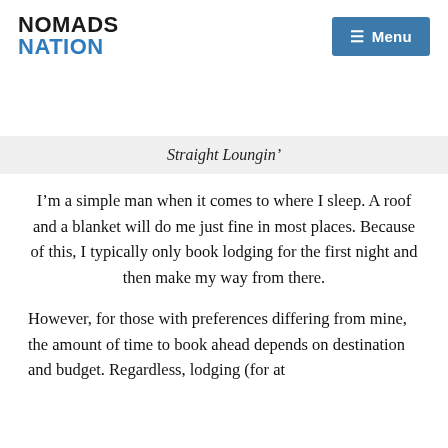NOMADS NATION
Straight Loungin’
I’m a simple man when it comes to where I sleep. A roof and a blanket will do me just fine in most places. Because of this, I typically only book lodging for the first night and then make my way from there.
However, for those with preferences differing from mine, the amount of time to book ahead depends on destination and budget. Regardless, lodging (for at